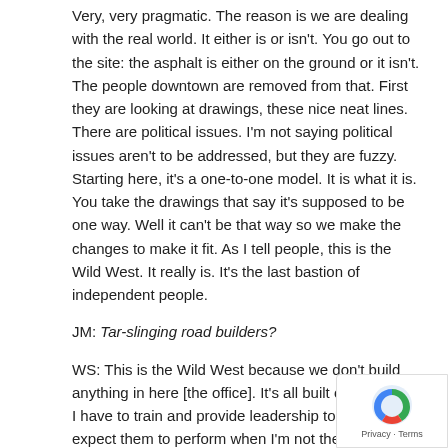Very, very pragmatic. The reason is we are dealing with the real world. It either is or isn't. You go out to the site: the asphalt is either on the ground or it isn't. The people downtown are removed from that. First they are looking at drawings, these nice neat lines. There are political issues. I'm not saying political issues aren't to be addressed, but they are fuzzy. Starting here, it's a one-to-one model. It is what it is. You take the drawings that say it's supposed to be one way. Well it can't be that way so we make the changes to make it fit. As I tell people, this is the Wild West. It really is. It's the last bastion of independent people.
JM: Tar-slinging road builders?
WS: This is the Wild West because we don't build anything in here [the office]. It's all built out there. So I have to train and provide leadership to people and expect them to perform when I'm not there and expect